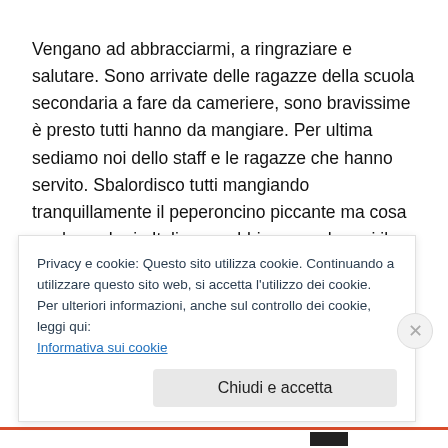Vengano ad abbracciarmi, a ringraziare e salutare. Sono arrivate delle ragazze della scuola secondaria a fare da cameriere, sono bravissime è presto tutti hanno da mangiare. Per ultima sediamo noi dello staff e le ragazze che hanno servito. Sbalordisco tutti mangiando tranquillamente il peperoncino piccante ma cosa credono che in Italia non abbiamo anche noi il peperoncino. Anzi non era così piccante di quanto pensavo. Mangio la mia zuppa di noodles con i bastoncini cinese ma il cucchiaio
Privacy e cookie: Questo sito utilizza cookie. Continuando a utilizzare questo sito web, si accetta l'utilizzo dei cookie.
Per ulteriori informazioni, anche sul controllo dei cookie, leggi qui:
Informativa sui cookie
Chiudi e accetta